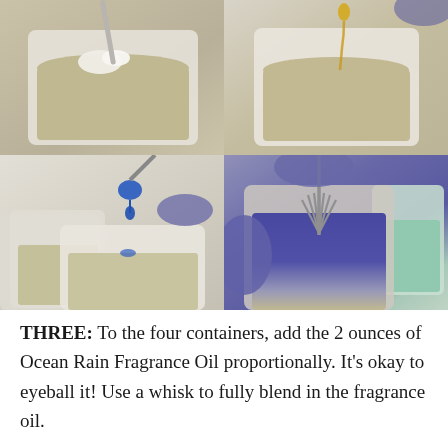[Figure (photo): Four-panel photo grid showing soap-making steps: top-left shows a beige liquid mixture in a white plastic container with a white substance being stirred; top-right shows a yellow oil being dripped into a beige liquid in a white container; bottom-left shows blue dye being dropped into multiple white containers with beige liquid; bottom-right shows a gloved hand whisking blue-colored liquid in a white container, with a teal container in background.]
THREE: To the four containers, add the 2 ounces of Ocean Rain Fragrance Oil proportionally. It's okay to eyeball it! Use a whisk to fully blend in the fragrance oil.